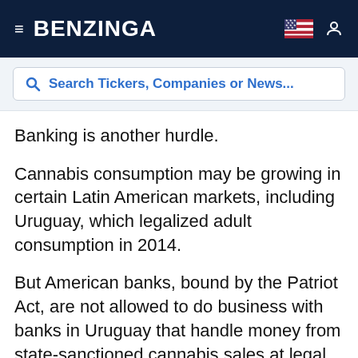BENZINGA
Search Tickers, Companies or News...
Banking is another hurdle.
Cannabis consumption may be growing in certain Latin American markets, including Uruguay, which legalized adult consumption in 2014.
But American banks, bound by the Patriot Act, are not allowed to do business with banks in Uruguay that handle money from state-sanctioned cannabis sales at legal pharmacies.
"A cannabis company in Uruguay can't open a bank account," Raza said.